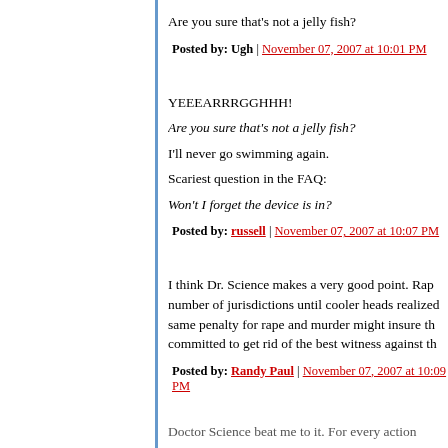Are you sure that's not a jelly fish?
Posted by: Ugh | November 07, 2007 at 10:01 PM
YEEEARRRGGHHH!
Are you sure that’s not a jelly fish?
I'll never go swimming again.
Scariest question in the FAQ:
Won't I forget the device is in?
Posted by: russell | November 07, 2007 at 10:07 PM
I think Dr. Science makes a very good point. Rape... number of jurisdictions until cooler heads realized... same penalty for rape and murder might insure th... committed to get rid of the best witness against th...
Posted by: Randy Paul | November 07, 2007 at 10:09 PM
Doctor Science beat me to it. For every action...